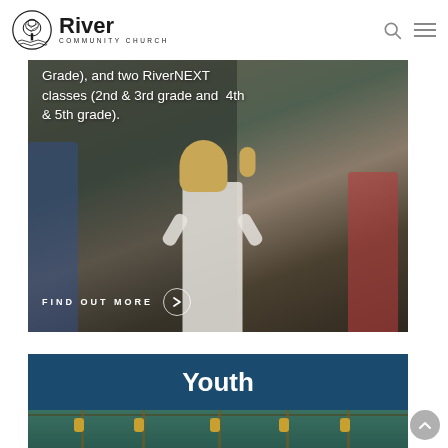[Figure (logo): River Community Church logo — circular tree emblem with 'River' in bold and 'COMMUNITY CHURCH' below]
[Figure (photo): Children with arms raised in worship or activity, viewed from behind; white text overlay reading 'Grade), and two RiverNEXT classes (2nd & 3rd grade and 4th & 5th grade).' with a FIND OUT MORE button]
Grade), and two RiverNEXT classes (2nd & 3rd grade and  4th & 5th grade).
FIND OUT MORE
Youth
[Figure (photo): Foosball table figures visible at bottom edge]